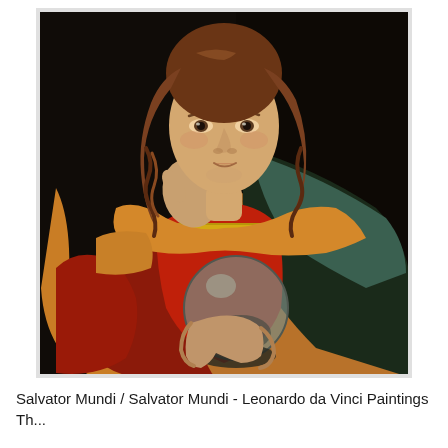[Figure (illustration): Painting of Salvator Mundi (after Leonardo da Vinci) depicting a young figure with curly auburn hair, wearing red and orange-gold robes with a dark green-black mantle. The right hand is raised in a blessing gesture with two fingers extended, and the left hand holds a transparent crystal orb. The background is dark/black.]
Salvator Mundi / Salvator Mundi - Leonardo da Vinci Paintings Th...